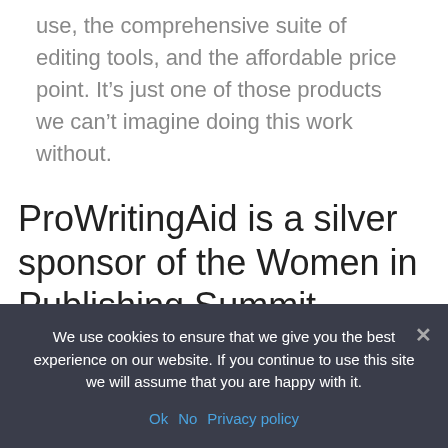use, the comprehensive suite of editing tools, and the affordable price point. It’s just one of those products we can’t imagine doing this work without.
ProWritingAid is a silver sponsor of the Women in Publishing Summit
A really cool thing about ProWritingAid is that they offer
We use cookies to ensure that we give you the best experience on our website. If you continue to use this site we will assume that you are happy with it.
Ok  No  Privacy policy